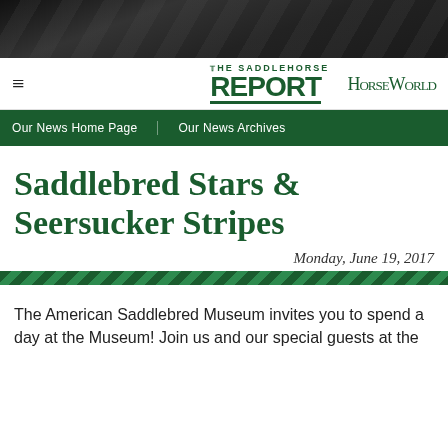[Figure (photo): Dark textured banner image at top of page, showing dark horse hair or fabric texture in black and dark grey tones.]
THE SADDLEHORSE REPORT | HorseWorld
Our News Home Page | Our News Archives
Saddlebred Stars & Seersucker Stripes
Monday, June 19, 2017
The American Saddlebred Museum invites you to spend a day at the Museum! Join us and our special guests at the